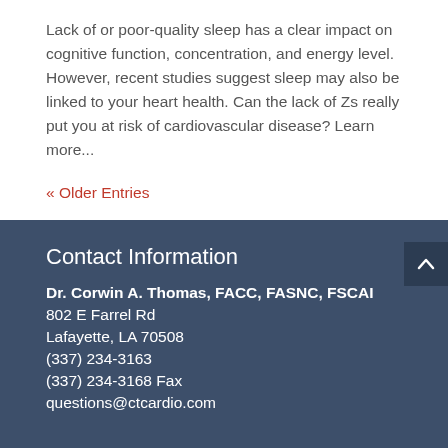Lack of or poor-quality sleep has a clear impact on cognitive function, concentration, and energy level. However, recent studies suggest sleep may also be linked to your heart health. Can the lack of Zs really put you at risk of cardiovascular disease? Learn more...
« Older Entries
Contact Information
Dr. Corwin A. Thomas, FACC, FASNC, FSCAI
802 E Farrel Rd
Lafayette, LA 70508
(337) 234-3163
(337) 234-3168 Fax
questions@ctcardio.com